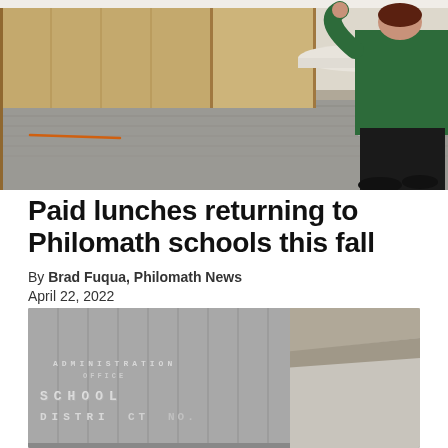[Figure (photo): A person in a green top sitting on a stool at a table in what appears to be a school cafeteria or common area, with wooden panel walls visible in the background.]
Paid lunches returning to Philomath schools this fall
By Brad Fuqua, Philomath News
April 22, 2022
[Figure (photo): Exterior of a building showing a sign that reads 'ADMINISTRATION OFFICE SCHOOL DISTRICT' on a grey metal-paneled wall.]